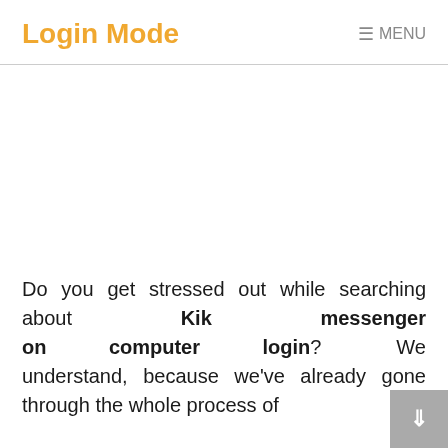Login Mode  MENU
[Figure (other): Advertisement / empty white space placeholder]
Do you get stressed out while searching about Kik messenger on computer login? We understand, because we've already gone through the whole process of